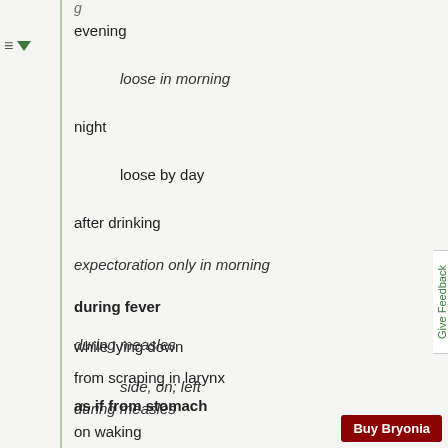evening
loose in morning
night
loose by day
after drinking
expectoration only in morning
during fever
while lying down
side, on; left
during measles
from scraping in larynx
as if from stomach
on waking